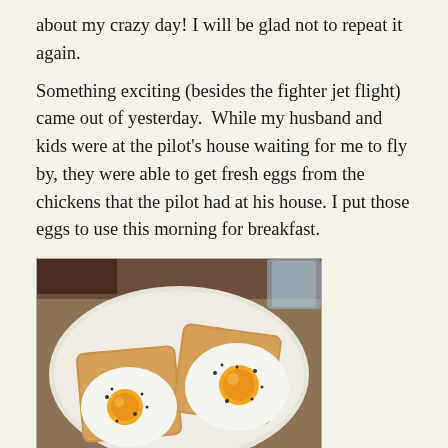about my crazy day! I will be glad not to repeat it again.
Something exciting (besides the fighter jet flight) came out of yesterday.  While my husband and kids were at the pilot's house waiting for me to fly by, they were able to get fresh eggs from the chickens that the pilot had at his house. I put those eggs to use this morning for breakfast.
[Figure (photo): Two fried eggs on toast pieces on a white plate, sprinkled with black pepper, placed on a wooden table surface.]
I fried them up in a little butter, salt and pepper and put them on toast. So Amazing. I forgot how good fried